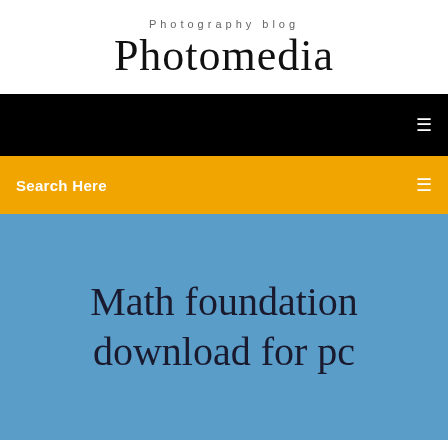Photography blog
Photomedia
Search Here
Math foundation download for pc